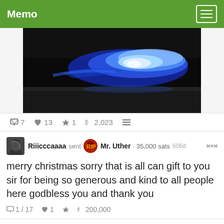Memo
[Figure (photo): A glowing blue flame or energy on a dark background, resembling a burning lighter or plasma effect.]
7  13  1  2,023  ☰
Riiicccaaaa sent Mr. Uther · 35,000 sats 606d
merry christmas sorry that is all can gift to you sir for being so generous and kind to all people here godbless you and thank you
1 / 17  1  200,000
Riiicccaaaa replied 606d
DJ. Uther